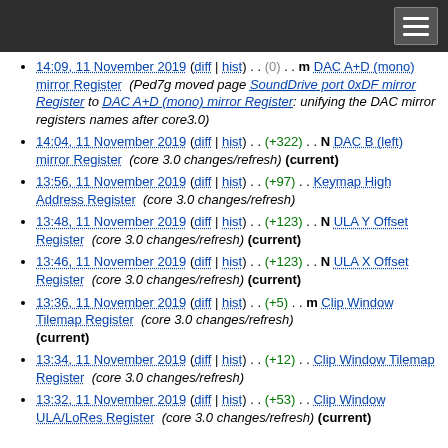[navigation bar with hamburger menu]
14:09, 11 November 2019 (diff | hist) . . (0) . . m DAC A+D (mono) mirror Register (Ped7g moved page SoundDrive port 0xDF mirror Register to DAC A+D (mono) mirror Register: unifying the DAC mirror registers names after core3.0)
14:04, 11 November 2019 (diff | hist) . . (+322) . . N DAC B (left) mirror Register (core 3.0 changes/refresh) (current)
13:56, 11 November 2019 (diff | hist) . . (+97) . . Keymap High Address Register (core 3.0 changes/refresh)
13:48, 11 November 2019 (diff | hist) . . (+123) . . N ULA Y Offset Register (core 3.0 changes/refresh) (current)
13:46, 11 November 2019 (diff | hist) . . (+123) . . N ULA X Offset Register (core 3.0 changes/refresh) (current)
13:36, 11 November 2019 (diff | hist) . . (+5) . . m Clip Window Tilemap Register (core 3.0 changes/refresh) (current)
13:34, 11 November 2019 (diff | hist) . . (+12) . . Clip Window Tilemap Register (core 3.0 changes/refresh)
13:32, 11 November 2019 (diff | hist) . . (+53) . . Clip Window ULA/LoRes Register (core 3.0 changes/refresh) (current)